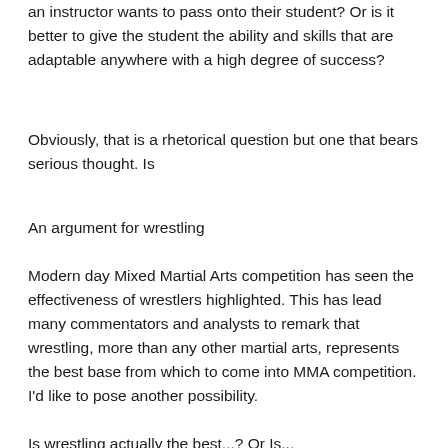an instructor wants to pass onto their student? Or is it better to give the student the ability and skills that are adaptable anywhere with a high degree of success?
Obviously, that is a rhetorical question but one that bears serious thought. Is
An argument for wrestling
Modern day Mixed Martial Arts competition has seen the effectiveness of wrestlers highlighted. This has lead many commentators and analysts to remark that wrestling, more than any other martial arts, represents the best base from which to come into MMA competition. I'd like to pose another possibility.
Is wrestling actually the best...? Or Is...